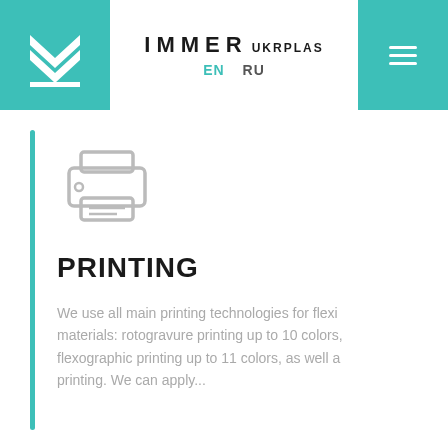[Figure (logo): Immer Ukrplas logo with teal M-shaped chevron icon on left, brand name IMMER UKRPLAS in center, hamburger menu icon on right teal block]
EN  RU
[Figure (illustration): Printer icon in grey outline style]
PRINTING
We use all main printing technologies for flexi materials: rotogravure printing up to 10 colors, flexographic printing up to 11 colors, as well a printing. We can apply...